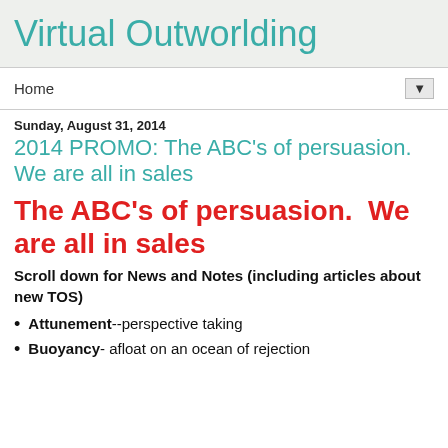Virtual Outworlding
Home
Sunday, August 31, 2014
2014 PROMO: The ABC's of persuasion. We are all in sales
The ABC's of persuasion.  We are all in sales
Scroll down for News and Notes (including articles about new TOS)
Attunement--perspective taking
Buoyancy- afloat on an ocean of rejection